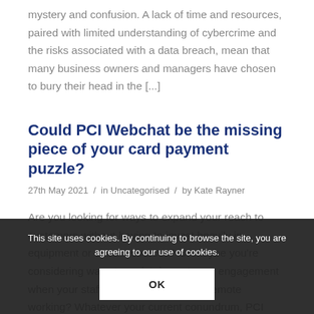mystery and confusion. A lack of time and resources, paired with limited understanding of cybercrime and the risks associated with a data breach, mean that many business owners and managers have chosen to bury their head in the [...]
Could PCI Webchat be the missing piece of your card payment puzzle?
27th May 2021 / in Uncategorised / by Kate Rayner
Are you looking for ways to expand your reach to customers without having to invest heavily in equipment or extra resources? Or maybe you're considering ways to maintain customer engagement when your staff are mixing office and remote working? Whatever your current conundrum, PCI Webchat could be the solution that you're looking for at the moment [...]
This site uses cookies. By continuing to browse the site, you are agreeing to our use of cookies.